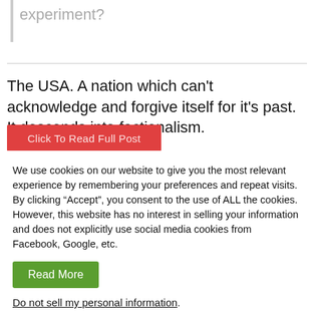experiment?
The USA. A nation which can't acknowledge and forgive itself for it's past. It descends into factionalism.
We use cookies on our website to give you the most relevant experience by remembering your preferences and repeat visits. By clicking “Accept”, you consent to the use of ALL the cookies. However, this website has no interest in selling your information and does not explicitly use social media cookies from Facebook, Google, etc.
Read More
Do not sell my personal information.
Cookie Settings
Reject All
Accept